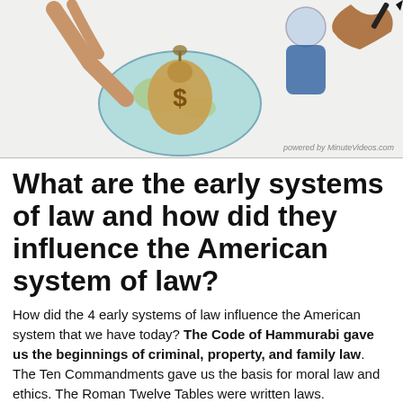[Figure (illustration): Cartoon illustration showing hands, a globe with a money bag on it, and a person writing/drawing — educational video thumbnail style with a watermark 'powered by MinuteVideos.com']
What are the early systems of law and how did they influence the American system of law?
How did the 4 early systems of law influence the American system that we have today? The Code of Hammurabi gave us the beginnings of criminal, property, and family law. The Ten Commandments gave us the basis for moral law and ethics. The Roman Twelve Tables were written laws.
Why is English common law